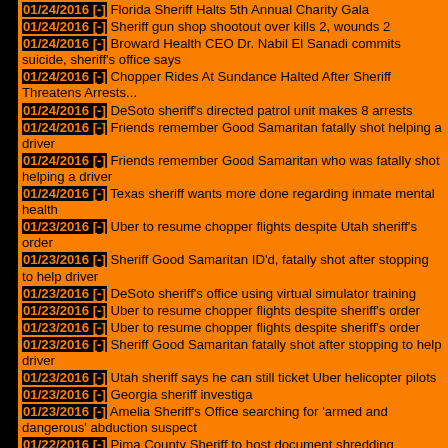01/24/2016 [-] Florida Sheriff Halts 5th Annual Charity Gala
01/24/2016 [-] Sheriff gun shop shootout over kills 2, wounds 2
01/24/2016 [-] Broward Health CEO Dr. Nabil El Sanadi commits suicide, sheriff's office says
01/24/2016 [-] Chopper Rides At Sundance Halted After Sheriff Threatens Arrests...
01/24/2016 [-] DeSoto sheriff's directed patrol unit makes 8 arrests
01/24/2016 [-] Friends remember Good Samaritan fatally shot helping a driver
01/24/2016 [-] Friends remember Good Samaritan who was fatally shot helping a driver
01/24/2016 [-] Texas sheriff wants more done regarding inmate mental health
01/23/2016 [-] Uber to resume chopper flights despite Utah sheriff's order
01/23/2016 [-] Sheriff Good Samaritan ID'd, fatally shot after stopping to help driver
01/23/2016 [-] DeSoto sheriff's office using virtual simulator training
01/23/2016 [-] Uber to resume chopper flights despite sheriff's order
01/23/2016 [-] Uber to resume chopper flights despite sheriff's order
01/23/2016 [-] Sheriff Good Samaritan fatally shot after stopping to help driver
01/23/2016 [-] Utah sheriff says he can still ticket Uber helicopter pilots
01/23/2016 [-] Georgia sheriff investiga
01/23/2016 [-] Amelia Sheriff's Office searching for 'armed and dangerous' abduction suspect
01/22/2016 [-] Pima County Sheriff to host document shredding